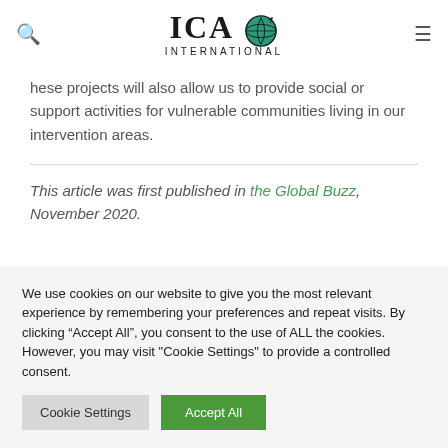ICAO INTERNATIONAL
These projects will also allow us to provide social or support activities for vulnerable communities living in our intervention areas.
This article was first published in the Global Buzz, November 2020.
We use cookies on our website to give you the most relevant experience by remembering your preferences and repeat visits. By clicking “Accept All”, you consent to the use of ALL the cookies. However, you may visit "Cookie Settings" to provide a controlled consent.